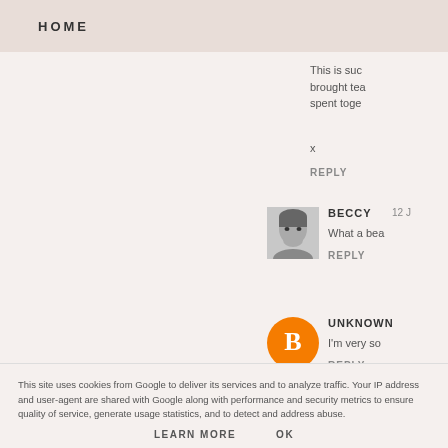HOME
This is suc brought tea spent toge
x
REPLY
[Figure (photo): Grayscale portrait photo of Beccy, a smiling woman]
BECCY  12 J
What a bea
REPLY
[Figure (logo): Orange Blogger logo circle with white B icon]
UNKNOWN
I'm very so
REPLY
This site uses cookies from Google to deliver its services and to analyze traffic. Your IP address and user-agent are shared with Google along with performance and security metrics to ensure quality of service, generate usage statistics, and to detect and address abuse.
LEARN MORE    OK